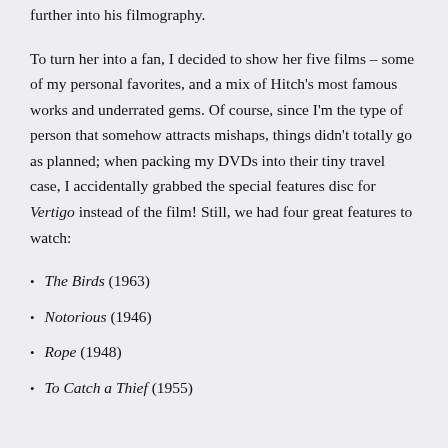further into his filmography.
To turn her into a fan, I decided to show her five films – some of my personal favorites, and a mix of Hitch's most famous works and underrated gems. Of course, since I'm the type of person that somehow attracts mishaps, things didn't totally go as planned; when packing my DVDs into their tiny travel case, I accidentally grabbed the special features disc for Vertigo instead of the film! Still, we had four great features to watch:
The Birds (1963)
Notorious (1946)
Rope (1948)
To Catch a Thief (1955)